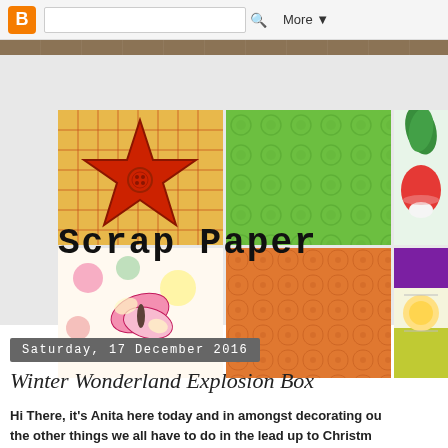Blogger B | [search bar] | More ▼
[Figure (photo): Scrap Paper blog banner collage showing four quadrant images: top-left a red star on orange plaid background, top-middle green textured circles pattern, top-right vegetables (radishes/turnips), bottom-left butterfly and flowers craft paper, bottom-middle orange floral damask pattern, bottom-right crafts/stickers. Blog title 'Scrap Paper' overlaid in typewriter font.]
Saturday, 17 December 2016
Winter Wonderland Explosion Box
Hi There, it's Anita here today and in amongst decorating ou the other things we all have to do in the lead up to Christm